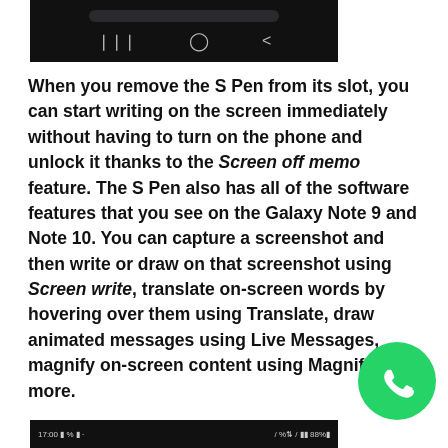[Figure (screenshot): Top portion of a smartphone screen showing navigation bar with back, home, and recent buttons on dark background]
When you remove the S Pen from its slot, you can start writing on the screen immediately without having to turn on the phone and unlock it thanks to the Screen off memo feature. The S Pen also has all of the software features that you see on the Galaxy Note 9 and Note 10. You can capture a screenshot and then write or draw on that screenshot using Screen write, translate on-screen words by hovering over them using Translate, draw animated messages using Live Messages, magnify on-screen content using Magnify, and more.
[Figure (screenshot): Bottom portion of a smartphone screen showing status bar with time 17:00 and battery/signal indicators]
[Figure (logo): WhatsApp green logo in bottom right corner]